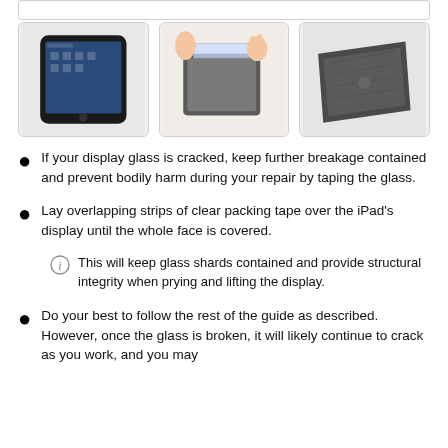[Figure (photo): Three images: an iPad, hands applying tape to a tablet screen, and a tablet lying face down]
If your display glass is cracked, keep further breakage contained and prevent bodily harm during your repair by taping the glass.
Lay overlapping strips of clear packing tape over the iPad's display until the whole face is covered.
This will keep glass shards contained and provide structural integrity when prying and lifting the display.
Do your best to follow the rest of the guide as described. However, once the glass is broken, it will likely continue to crack as you work, and you may